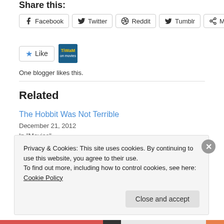Share this:
Facebook | Twitter | Reddit | Tumblr | More
[Figure (screenshot): Like button and Tiwam blog avatar]
One blogger likes this.
Related
The Hobbit Was Not Terrible
December 21, 2012
In "Movies"
X-Men Days of Future Past Trailer
Privacy & Cookies: This site uses cookies. By continuing to use this website, you agree to their use.
To find out more, including how to control cookies, see here: Cookie Policy
Close and accept